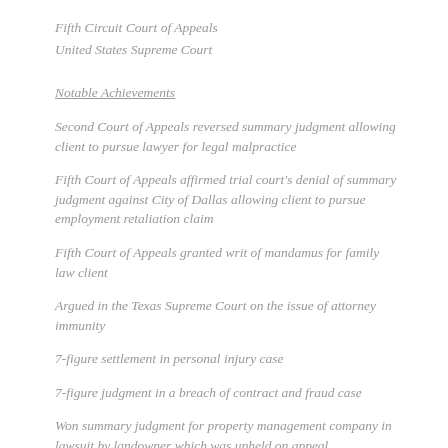Fifth Circuit Court of Appeals
United States Supreme Court
Notable Achievements
Second Court of Appeals reversed summary judgment allowing client to pursue lawyer for legal malpractice
Fifth Court of Appeals affirmed trial court's denial of summary judgment against City of Dallas allowing client to pursue employment retaliation claim
Fifth Court of Appeals granted writ of mandamus for family law client
Argued in the Texas Supreme Court on the issue of attorney immunity
7-figure settlement in personal injury case
7-figure judgment in a breach of contract and fraud case
Won summary judgment for property management company in lawsuit by landowner which was upheld on appeal